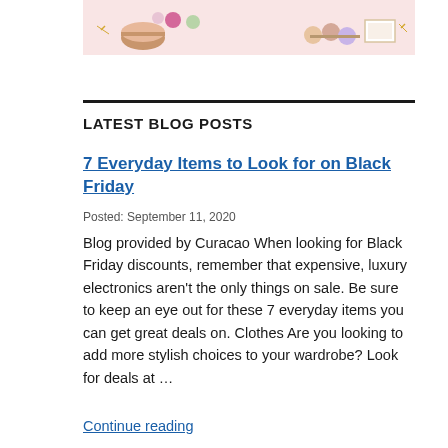[Figure (photo): Banner image showing macarons and chocolates on a pink background]
LATEST BLOG POSTS
7 Everyday Items to Look for on Black Friday
Posted: September 11, 2020
Blog provided by Curacao When looking for Black Friday discounts, remember that expensive, luxury electronics aren't the only things on sale. Be sure to keep an eye out for these 7 everyday items you can get great deals on. Clothes Are you looking to add more stylish choices to your wardrobe? Look for deals at …
Continue reading